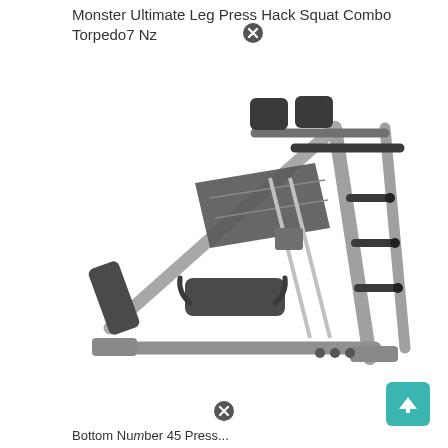Monster Ultimate Leg Press Hack Squat Combo Torpedo7 Nz
[Figure (photo): A large commercial-grade leg press and hack squat combo machine with a silver/grey steel frame, black padded seat and backrest, a slanted footplate, and multiple weight plate storage pegs on the sides, photographed on a white background.]
Bottom text / navigation label partially visible at bottom